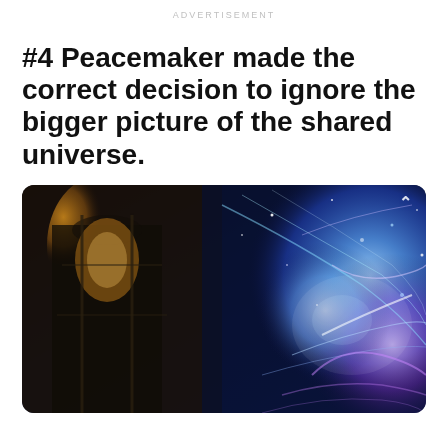ADVERTISEMENT
#4 Peacemaker made the correct decision to ignore the bigger picture of the shared universe.
[Figure (photo): A cinematic still showing a dark gothic architectural structure on the left with warm glowing light, and a vibrant cosmic nebula on the right filled with blue, purple and white glowing energy strands.]